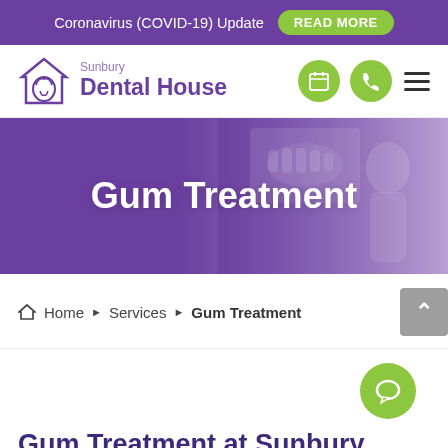Coronavirus (COVID-19) Update  READ MORE
[Figure (logo): Sunbury Dental House logo with tooth icon inside a house outline]
Home ▶ Services ▶ Gum Treatment
Gum Treatment
Gum Treatment at Sunbury, Gisborne & Diggers Rest